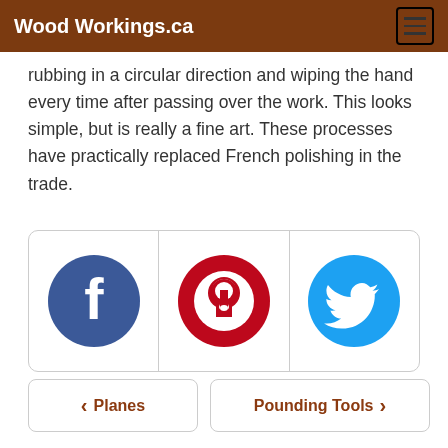Wood Workings.ca
rubbing in a circular direction and wiping the hand every time after passing over the work. This looks simple, but is really a fine art. These processes have practically replaced French polishing in the trade.
[Figure (other): Three social media share buttons in a bordered row: Facebook (blue circle with white f), Pinterest (red circle with white P pin logo), Twitter (blue circle with white bird logo)]
‹ Planes   Pounding Tools ›